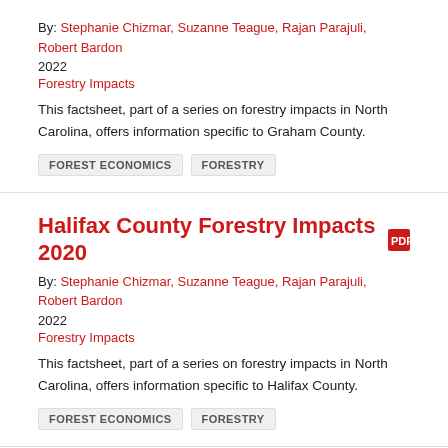By: Stephanie Chizmar, Suzanne Teague, Rajan Parajuli, Robert Bardon
2022
Forestry Impacts
This factsheet, part of a series on forestry impacts in North Carolina, offers information specific to Graham County.
FOREST ECONOMICS   FORESTRY
Halifax County Forestry Impacts 2020
By: Stephanie Chizmar, Suzanne Teague, Rajan Parajuli, Robert Bardon
2022
Forestry Impacts
This factsheet, part of a series on forestry impacts in North Carolina, offers information specific to Halifax County.
FOREST ECONOMICS   FORESTRY